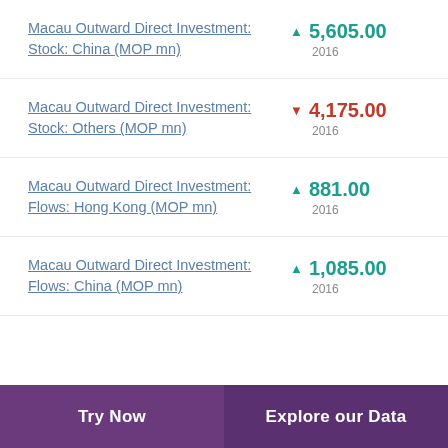Macau Outward Direct Investment: Stock: China (MOP mn)
Macau Outward Direct Investment: Stock: Others (MOP mn)
Macau Outward Direct Investment: Flows: Hong Kong (MOP mn)
Macau Outward Direct Investment: Flows: China (MOP mn)
Try Now | Explore our Data